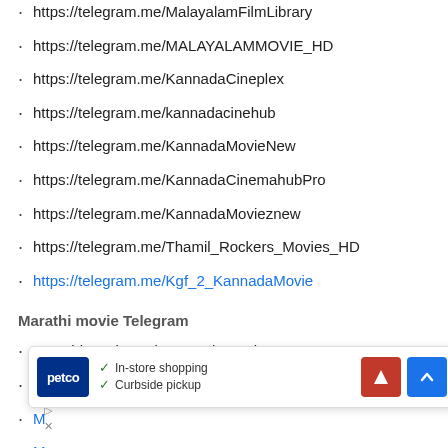https://telegram.me/MalayalamFilmLibrary
https://telegram.me/MALAYALAMMOVIE_HD
https://telegram.me/KannadaCineplex
https://telegram.me/kannadacinehub
https://telegram.me/KannadaMovieNew
https://telegram.me/KannadaCinemahubPro
https://telegram.me/KannadaMovieznew
https://telegram.me/Thamil_Rockers_Movies_HD
https://telegram.me/Kgf_2_KannadaMovie
Marathi movie Telegram
Marathi Movies Telegram channel 1
M...
M...
M...
M...
Marathi Movies Telegram channel 5
[Figure (screenshot): Overlay popup showing Petco store info with In-store shopping and Curbside pickup checkmarks, a red navigation arrow icon, and a blue up-arrow button]